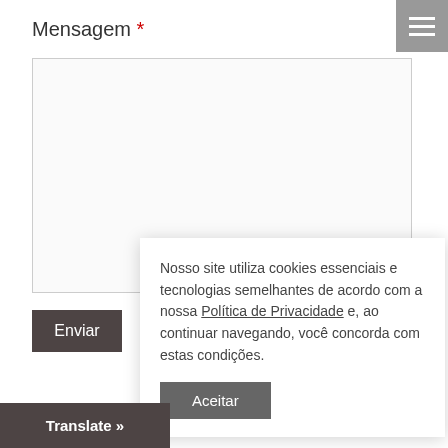Mensagem *
[Figure (screenshot): Empty text area input field with light border]
Enviar
Nosso site utiliza cookies essenciais e tecnologias semelhantes de acordo com a nossa Política de Privacidade e, ao continuar navegando, você concorda com estas condições.
Aceitar
Translate »